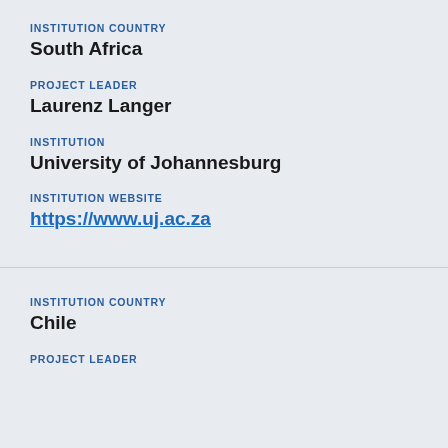INSTITUTION COUNTRY
South Africa
PROJECT LEADER
Laurenz Langer
INSTITUTION
University of Johannesburg
INSTITUTION WEBSITE
https://www.uj.ac.za
INSTITUTION COUNTRY
Chile
PROJECT LEADER